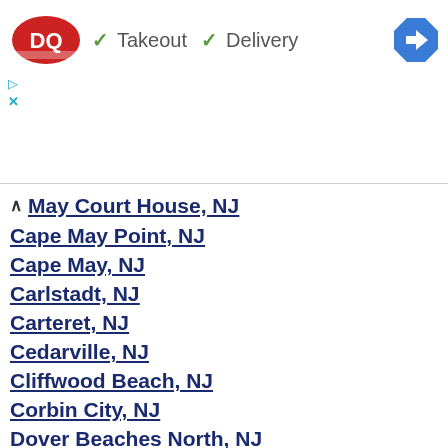DQ Takeout Delivery
May Court House, NJ
Cape May Point, NJ
Cape May, NJ
Carlstadt, NJ
Carteret, NJ
Cedarville, NJ
Cliffwood Beach, NJ
Corbin City, NJ
Dover Beaches North, NJ
Dover Beaches South, NJ
Edgewater, NJ
Egg Harbor City, NJ
Elizabeth, NJ
Englewood Cliffs, NJ
Estell Manor, NJ
Fairton, NJ
Fieldsboro, NJ
Florence, NJ
Forked River, NJ
Fort Lee, NJ